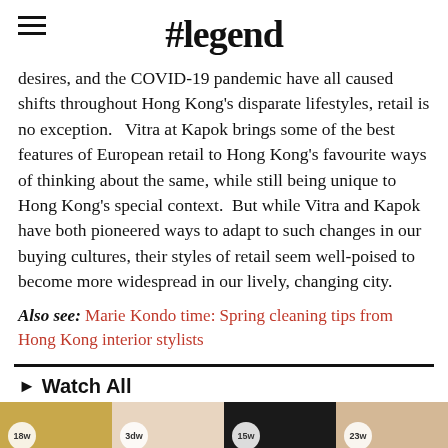#legend
desires, and the COVID-19 pandemic have all caused shifts throughout Hong Kong's disparate lifestyles, retail is no exception.   Vitra at Kapok brings some of the best features of European retail to Hong Kong's favourite ways of thinking about the same, while still being unique to Hong Kong's special context.  But while Vitra and Kapok have both pioneered ways to adapt to such changes in our buying cultures, their styles of retail seem well-poised to become more widespread in our lively, changing city.
Also see: Marie Kondo time: Spring cleaning tips from Hong Kong interior stylists
▶ Watch All
[Figure (photo): Four video thumbnails with time badges: 18w, 3dw, 15w, 23w]